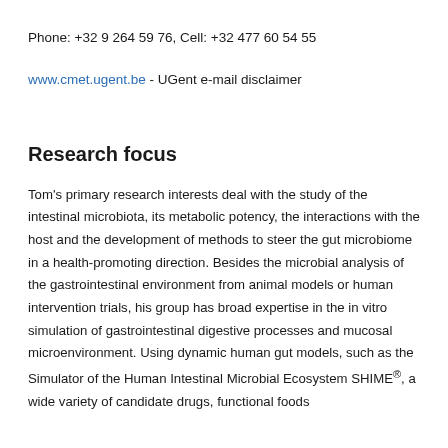Phone: +32 9 264 59 76, Cell: +32 477 60 54 55
www.cmet.ugent.be - UGent e-mail disclaimer
Research focus
Tom's primary research interests deal with the study of the intestinal microbiota, its metabolic potency, the interactions with the host and the development of methods to steer the gut microbiome in a health-promoting direction. Besides the microbial analysis of the gastrointestinal environment from animal models or human intervention trials, his group has broad expertise in the in vitro simulation of gastrointestinal digestive processes and mucosal microenvironment. Using dynamic human gut models, such as the Simulator of the Human Intestinal Microbial Ecosystem SHIME®, a wide variety of candidate drugs, functional foods